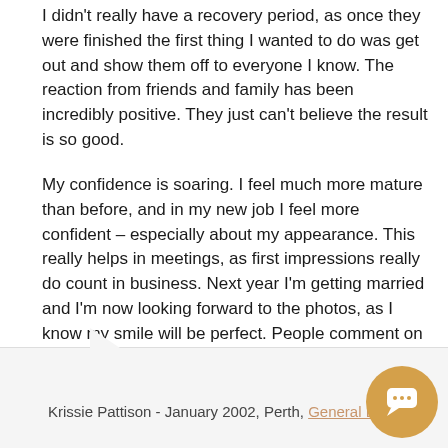I didn't really have a recovery period, as once they were finished the first thing I wanted to do was get out and show them off to everyone I know. The reaction from friends and family has been incredibly positive. They just can't believe the result is so good.
My confidence is soaring. I feel much more mature than before, and in my new job I feel more confident – especially about my appearance. This really helps in meetings, as first impressions really do count in business. Next year I'm getting married and I'm now looking forward to the photos, as I know my smile will be perfect. People comment on what an incredible smile I have – in fact I even made it onto the cover of a marketing brochure at my new job. At last I've got what I wanted: a brilliant white smile!
Krissie Pattison - January 2002, Perth, General Dentistry